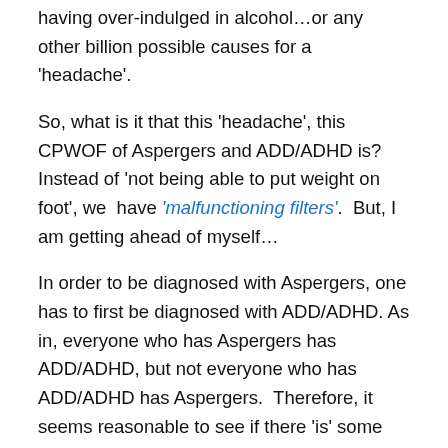having over-indulged in alcohol…or any other billion possible causes for a 'headache'.
So, what is it that this 'headache', this CPWOF of Aspergers and ADD/ADHD is? Instead of 'not being able to put weight on foot', we  have 'malfunctioning filters'.  But, I am getting ahead of myself…
In order to be diagnosed with Aspergers, one has to first be diagnosed with ADD/ADHD. As in, everyone who has Aspergers has ADD/ADHD, but not everyone who has ADD/ADHD has Aspergers.  Therefore, it seems reasonable to see if there 'is' some 'common mechanism' to both conditions which differs from 'the norm'.
This, then, is my hypothesis:
Both disorders/conditions could be caused by a break…